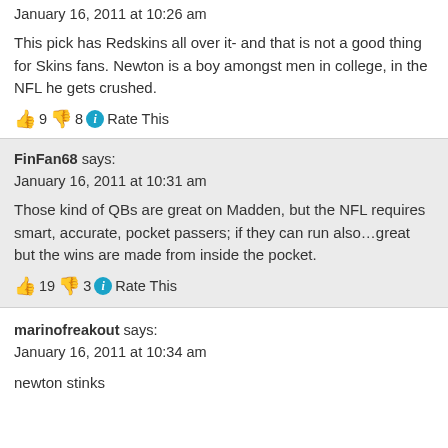January 16, 2011 at 10:26 am
This pick has Redskins all over it- and that is not a good thing for Skins fans. Newton is a boy amongst men in college, in the NFL he gets crushed.
👍 9 👎 8 ℹ Rate This
FinFan68 says:
January 16, 2011 at 10:31 am
Those kind of QBs are great on Madden, but the NFL requires smart, accurate, pocket passers; if they can run also…great but the wins are made from inside the pocket.
👍 19 👎 3 ℹ Rate This
marinofreakout says:
January 16, 2011 at 10:34 am
newton stinks